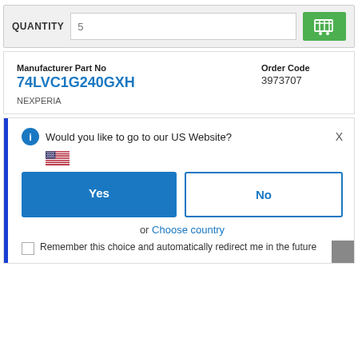QUANTITY  5
Manufacturer Part No  74LVC1G240GXH  Order Code  3973707  NEXPERIA
Would you like to go to our US Website?
Yes
No
or  Choose country
Remember this choice and automatically redirect me in the future